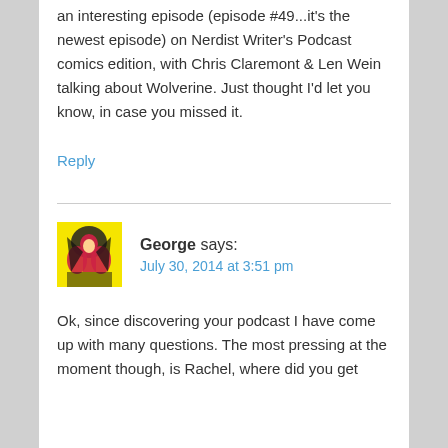an interesting episode (episode #49...it's the newest episode) on Nerdist Writer's Podcast comics edition, with Chris Claremont & Len Wein talking about Wolverine. Just thought I'd let you know, in case you missed it.
Reply
George says:
July 30, 2014 at 3:51 pm
Ok, since discovering your podcast I have come up with many questions. The most pressing at the moment though, is Rachel, where did you get